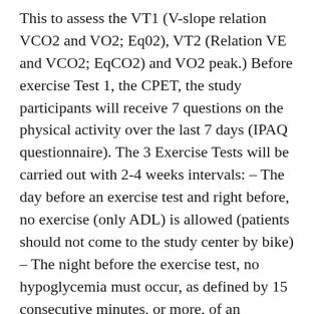This to assess the VT1 (V-slope relation VCO2 and VO2; Eq02), VT2 (Relation VE and VCO2; EqCO2) and VO2 peak.) Before exercise Test 1, the CPET, the study participants will receive 7 questions on the physical activity over the last 7 days (IPAQ questionnaire). The 3 Exercise Tests will be carried out with 2-4 weeks intervals: – The day before an exercise test and right before, no exercise (only ADL) is allowed (patients should not come to the study center by bike) – The night before the exercise test, no hypoglycemia must occur, as defined by 15 consecutive minutes, or more, of an interstitial glucose <70 mg/dL – Target glucose level in the morning: 90-180 mg/dL – The morning of the exercise test: patients will receive a